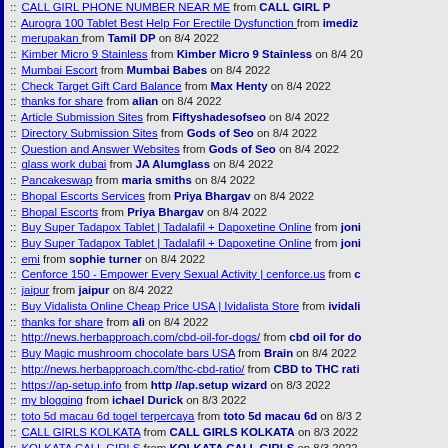CALL GIRL PHONE NUMBER NEAR ME from CALL GIRL P...
Aurogra 100 Tablet Best Help For Erectile Dysfunction from imediz...
merupakan from Tamil DP on 8/4 2022
Kimber Micro 9 Stainless from Kimber Micro 9 Stainless on 8/4 20...
Mumbai Escort from Mumbai Babes on 8/4 2022
Check Target Gift Card Balance from Max Henty on 8/4 2022
thanks for share from alian on 8/4 2022
Article Submission Sites from Fiftyshadesofseo on 8/4 2022
Directory Submission Sites from Gods of Seo on 8/4 2022
Question and Answer Websites from Gods of Seo on 8/4 2022
glass work dubai from JA Alumglass on 8/4 2022
Pancakeswap from maria smiths on 8/4 2022
Bhopal Escorts Services from Priya Bhargav on 8/4 2022
Bhopal Escorts from Priya Bhargav on 8/4 2022
Buy Super Tadapox Tablet | Tadalafil + Dapoxetine Online from joni...
Buy Super Tadapox Tablet | Tadalafil + Dapoxetine Online from joni...
emi from sophie turner on 8/4 2022
Cenforce 150 - Empower Every Sexual Activity | cenforce.us from c...
jaipur from jaipur on 8/4 2022
Buy Vidalista Online Cheap Price USA | Ividalista Store from ividali...
thanks for share from ali on 8/4 2022
http://news.herbapproach.com/cbd-oil-for-dogs/ from cbd oil for do...
Buy Magic mushroom chocolate bars USA from Brain on 8/4 2022
http://news.herbapproach.com/thc-cbd-ratio/ from CBD to THC rati...
https://ap-setup.info from http //ap.setup wizard on 8/3 2022
my blogging from ichael Durick on 8/3 2022
toto 5d macau 6d togel terpercaya from toto 5d macau 6d on 8/3 2...
CALL GIRLS KOLKATA from CALL GIRLS KOLKATA on 8/3 2022
KOLKATA CALL GIRLS from KOLKATA CALL GIRLS on 8/3 2022
NIGHT SERVICE KOLKATA from NIGHT SERVICE KOLKATA on 8/...
ESCORTS IN KOLKATA from ESCORTS IN KOLKATA on 8/3...